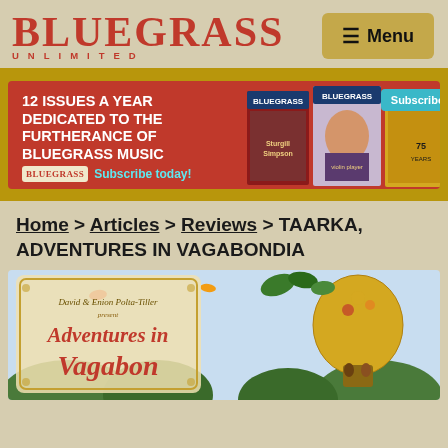BLUEGRASS UNLIMITED — Menu
[Figure (infographic): Advertisement banner: 12 Issues a Year Dedicated to the Furtherance of Bluegrass Music — Subscribe today! with magazine covers and Subscribe button]
Home > Articles > Reviews > TAARKA, ADVENTURES IN VAGABONDIA
[Figure (photo): Album cover: Adventures in Vagabondia by David & Enion Polta-Tiller, showing whimsical illustration with hot air balloon, birds, and decorative text]